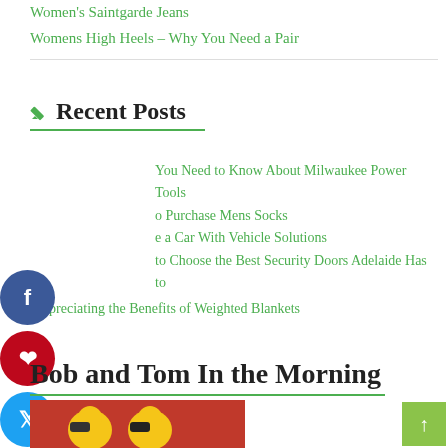Women's Saintgarde Jeans
Womens High Heels – Why You Need a Pair
Recent Posts
...You Need to Know About Milwaukee Power Tools
...o Purchase Mens Socks
...e a Car With Vehicle Solutions
...to Choose the Best Security Doors Adelaide Has to
Appreciating the Benefits of Weighted Blankets
Bob and Tom In the Morning
[Figure (photo): Photo of Bob and Tom In the Morning, persons visible against red background]